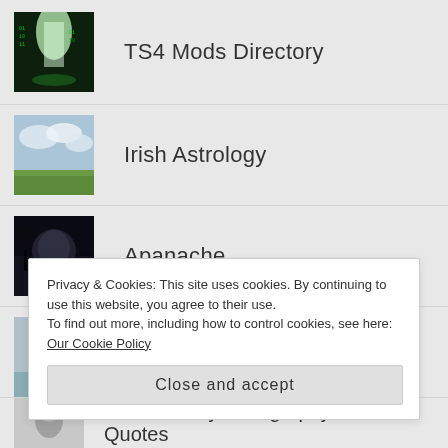TS4 Mods Directory
Irish Astrology
Apanache
She Let Go
Privacy & Cookies: This site uses cookies. By continuing to use this website, you agree to their use.
To find out more, including how to control cookies, see here: Our Cookie Policy
Close and accept
Elvis Presley – Biography and Quotes